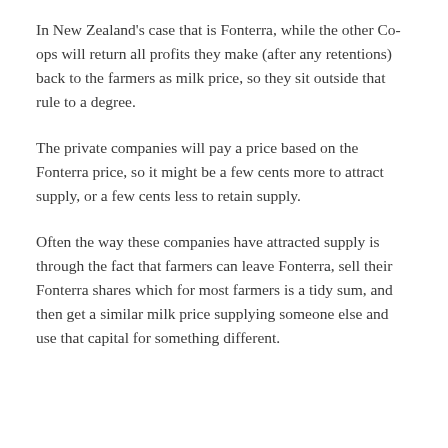In New Zealand's case that is Fonterra, while the other Co-ops will return all profits they make (after any retentions) back to the farmers as milk price, so they sit outside that rule to a degree.
The private companies will pay a price based on the Fonterra price, so it might be a few cents more to attract supply, or a few cents less to retain supply.
Often the way these companies have attracted supply is through the fact that farmers can leave Fonterra, sell their Fonterra shares which for most farmers is a tidy sum, and then get a similar milk price supplying someone else and use that capital for something different.